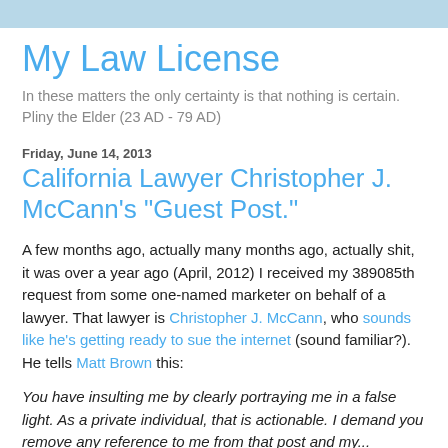My Law License
In these matters the only certainty is that nothing is certain. Pliny the Elder (23 AD - 79 AD)
Friday, June 14, 2013
California Lawyer Christopher J. McCann's "Guest Post."
A few months ago, actually many months ago, actually shit, it was over a year ago (April, 2012) I received my 389085th request from some one-named marketer on behalf of a lawyer. That lawyer is Christopher J. McCann, who sounds like he's getting ready to sue the internet (sound familiar?). He tells Matt Brown this:
You have insulting me by clearly portraying me in a false light. As a private individual, that is actionable. I demand you remove any reference to me from that post and my...